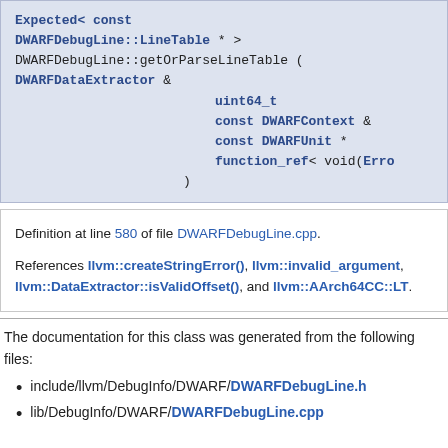Expected< const DWARFDebugLine::LineTable * > DWARFDebugLine::getOrParseLineTable ( DWARFDataExtractor & uint64_t const DWARFContext & const DWARFUnit * function_ref< void(Error ) )
Definition at line 580 of file DWARFDebugLine.cpp.
References llvm::createStringError(), llvm::invalid_argument, llvm::DataExtractor::isValidOffset(), and llvm::AArch64CC::LT.
The documentation for this class was generated from the following files:
include/llvm/DebugInfo/DWARF/DWARFDebugLine.h
lib/DebugInfo/DWARF/DWARFDebugLine.cpp